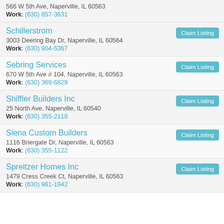566 W 5th Ave, Naperville, IL 60563
Work: (630) 857-3631
Schillerstrom
3003 Deering Bay Dr, Naperville, IL 60564
Work: (630) 904-5367
Sebring Services
670 W 5th Ave # 104, Naperville, IL 60563
Work: (630) 369-6829
Shiffler Builders Inc
25 North Ave, Naperville, IL 60540
Work: (630) 355-2118
Siena Custom Builders
1116 Briergate Dr, Naperville, IL 60563
Work: (630) 355-1122
Spreitzer Homes Inc
1479 Cress Creek Ct, Naperville, IL 60563
Work: (630) 961-1942